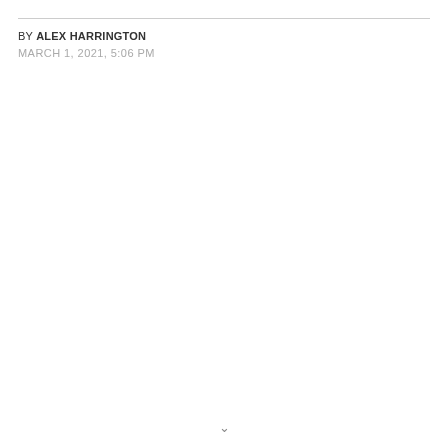BY ALEX HARRINGTON
MARCH 1, 2021, 5:06 PM
v